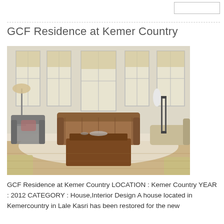GCF Residence at Kemer Country
[Figure (photo): Interior photo of a living room with vintage leather Chesterfield sofa, wooden coffee table, armchairs, large windows with roman shades, and decorative lamp. GCF Residence at Kemer Country.]
GCF Residence at Kemer Country LOCATION : Kemer Country YEAR : 2012 CATEGORY : House,Interior Design A house located in Kemercountry in Lale Kasri has been restored for the new